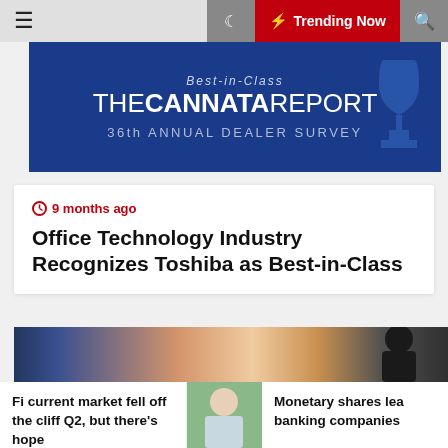☰  🌙  ⚡ Trending Now  🔍
[Figure (logo): The Cannata Report Best-in-Class 36th Annual Dealer Survey advertisement banner with blue background]
9 months ago
Office Technology Industry Recognizes Toshiba as Best-in-Class
[Figure (photo): Person from behind sitting at desk looking at tablet/laptop screen in warm sunset light]
Fi current market fell off the cliff Q2, but there's hope
[Figure (photo): Person outdoors in green setting]
Monetary shares lea banking companies